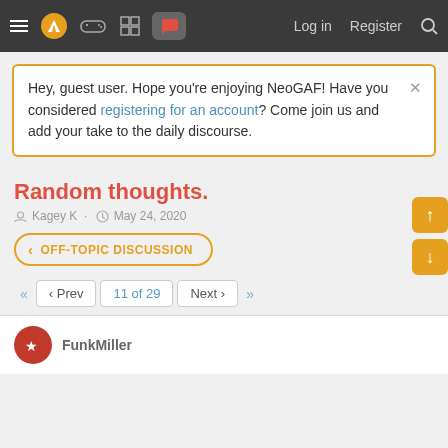NeoGAF navigation bar with hamburger menu, logo, icons, Log in, Register, Search
Hey, guest user. Hope you're enjoying NeoGAF! Have you considered registering for an account? Come join us and add your take to the daily discourse.
Random thoughts.
Kagey K · May 24, 2020
< OFF-TOPIC DISCUSSION
«  ‹ Prev   11 of 29   Next ›  »
FunkMiller